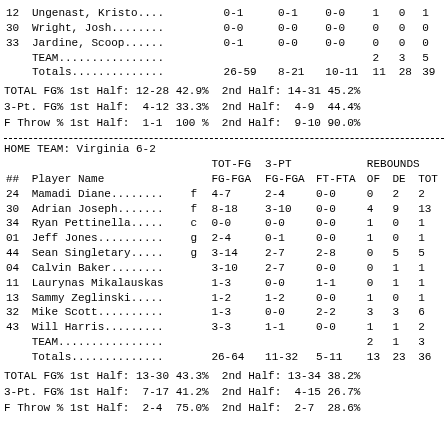| ## | Player Name |  | FG-FGA | FG-FGA | FT-FTA | OF | DE | TOT |
| --- | --- | --- | --- | --- | --- | --- | --- | --- |
| 12 | Ungenast, Kristo... |  | 0-1 | 0-1 | 0-0 | 1 | 0 | 1 |
| 30 | Wright, Josh........ |  | 0-0 | 0-0 | 0-0 | 0 | 0 | 0 |
| 33 | Jardine, Scoop...... |  | 0-1 | 0-0 | 0-0 | 0 | 0 | 0 |
|  | TEAM................ |  |  |  |  | 2 | 3 | 5 |
|  | Totals.............. |  | 26-59 | 8-21 | 10-11 | 11 | 28 | 39 |
TOTAL FG% 1st Half: 12-28 42.9%  2nd Half: 14-31 45.2%
3-Pt. FG% 1st Half:  4-12 33.3%  2nd Half:  4-9  44.4%
F Throw % 1st Half:  1-1  100 %  2nd Half:  9-10 90.0%
HOME TEAM: Virginia 6-2
| ## | Player Name |  | FG-FGA | FG-FGA | FT-FTA | OF | DE | TOT |
| --- | --- | --- | --- | --- | --- | --- | --- | --- |
| 24 | Mamadi Diane........ | f | 4-7 | 2-4 | 0-0 | 0 | 2 | 2 |
| 30 | Adrian Joseph....... | f | 8-18 | 3-10 | 0-0 | 4 | 9 | 13 |
| 34 | Ryan Pettinella..... | c | 0-0 | 0-0 | 0-0 | 1 | 0 | 1 |
| 01 | Jeff Jones.......... | g | 2-4 | 0-1 | 0-0 | 1 | 0 | 1 |
| 44 | Sean Singletary..... | g | 3-14 | 2-7 | 2-8 | 0 | 5 | 5 |
| 04 | Calvin Baker........ |  | 3-10 | 2-7 | 0-0 | 0 | 1 | 1 |
| 11 | Laurynas Mikalauskas |  | 1-3 | 0-0 | 1-1 | 0 | 1 | 1 |
| 13 | Sammy Zeglinski..... |  | 1-2 | 1-2 | 0-0 | 1 | 0 | 1 |
| 32 | Mike Scott.......... |  | 1-3 | 0-0 | 2-2 | 3 | 3 | 6 |
| 43 | Will Harris......... |  | 3-3 | 1-1 | 0-0 | 1 | 1 | 2 |
|  | TEAM................ |  |  |  |  | 2 | 1 | 3 |
|  | Totals.............. |  | 26-64 | 11-32 | 5-11 | 13 | 23 | 36 |
TOTAL FG% 1st Half: 13-30 43.3%  2nd Half: 13-34 38.2%
3-Pt. FG% 1st Half:  7-17 41.2%  2nd Half:  4-15 26.7%
F Throw % 1st Half:  2-4  75.0%  2nd Half:  2-7  28.6%